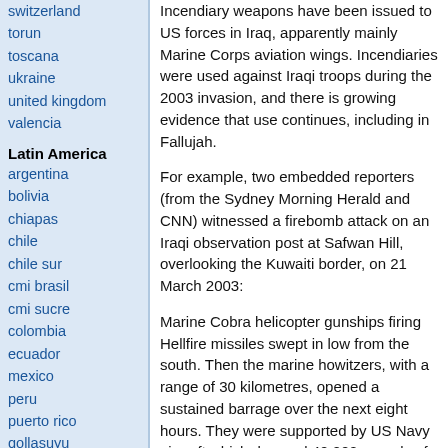switzerland
torun
toscana
ukraine
united kingdom
valencia
Latin America
argentina
bolivia
chiapas
chile
chile sur
cmi brasil
cmi sucre
colombia
ecuador
mexico
peru
puerto rico
qollasuyu
rosario
santiago
tijuana
uruguay
valparaiso
venezuela
Oceania
Incendiary weapons have been issued to US forces in Iraq, apparently mainly Marine Corps aviation wings. Incendiaries were used against Iraqi troops during the 2003 invasion, and there is growing evidence that use continues, including in Fallujah.
For example, two embedded reporters (from the Sydney Morning Herald and CNN) witnessed a firebomb attack on an Iraqi observation post at Safwan Hill, overlooking the Kuwaiti border, on 21 March 2003:
Marine Cobra helicopter gunships firing Hellfire missiles swept in low from the south. Then the marine howitzers, with a range of 30 kilometres, opened a sustained barrage over the next eight hours. They were supported by US Navy aircraft which dropped 40,000 pounds of explosives and napalm, a US officer told the Herald.
Safwan Hill went up in a huge fireball and the Iraqi observation post was obliterated. "I pity anybody who's in there,"